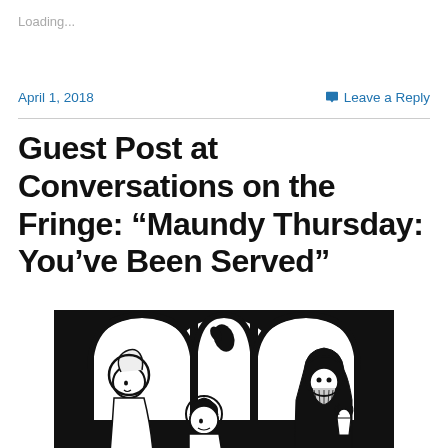Loading...
April 1, 2018   Leave a Reply
Guest Post at Conversations on the Fringe: “Maundy Thursday: You’ve Been Served”
[Figure (illustration): Black and white woodcut-style illustration showing three figures with halos seated at a table with arched openings in the background, reminiscent of a Last Supper scene.]